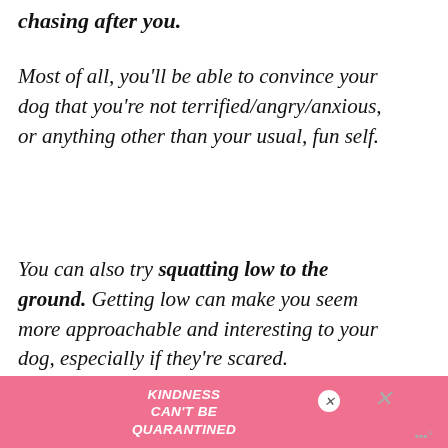chasing after you.
Most of all, you’ll be able to convince your dog that you’re not terrified/angry/anxious, or anything other than your usual, fun self.
You can also try squatting low to the ground. Getting low can make you seem more approachable and interesting to your dog, especially if they’re scared.
Practicing Better Recall
Hopefully you’re not reading this while your d…
[Figure (other): Ad banner: pink background with text KINDNESS CAN'T BE QUARANTINED in white bold letters, with close buttons]
[Figure (other): Orange circular heart button UI element with like count 65 and share button]